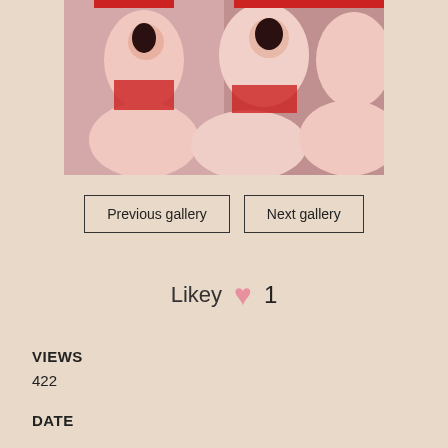[Figure (illustration): Anime/manga style illustration showing multiple female characters in red and white outfits]
Previous gallery
Next gallery
Likey ♥ 1
VIEWS
422
DATE